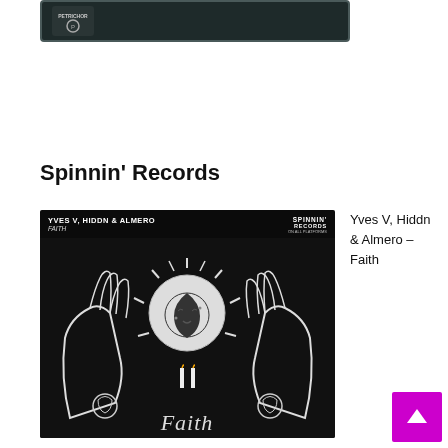[Figure (illustration): Dark album art thumbnail at top with Petrichor or similar label logo on dark/teal background]
Spinnin' Records
[Figure (illustration): Album cover art for Faith by Yves V, Hiddn & Almero on Spinnin' Records. Black and white illustration featuring two hands holding a sun/moon celestial face with roses and the word Faith in gothic lettering at the bottom.]
Yves V, Hiddn & Almero – Faith